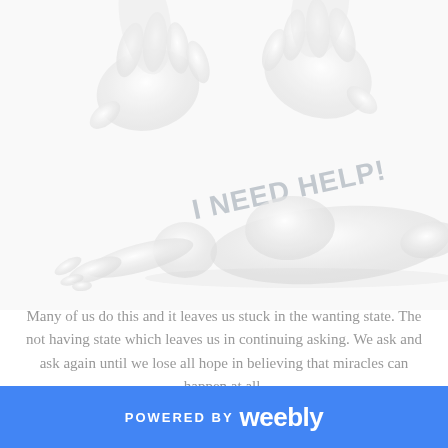[Figure (illustration): A white 3D figure lying prostrate on the ground with hands reaching out, with text 'I NEED HELP!' in gray stylized font above it. Additional white 3D hands visible at the top of the image reaching down.]
Many of us do this and it leaves us stuck in the wanting state. The not having state which leaves us in continuing asking. We ask and ask again until we lose all hope in believing that miracles can happen at all.
POWERED BY weebly